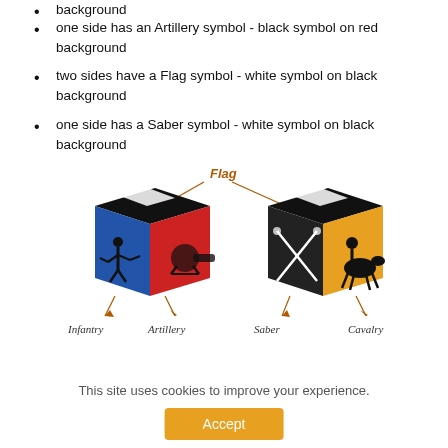background
one side has an Artillery symbol - black symbol on red background
two sides have a Flag symbol - white symbol on black background
one side has a Saber symbol - white symbol on black background
[Figure (illustration): Two 3D dice showing military symbols: left die has blue Infantry face, red Artillery face, black Flag face; right die has black Saber face (crossed sabers), yellow Cavalry face, black Flag face. Labels below: Infantry, Artillery, Saber, Cavalry. Arrow from 'Flag' label points to both dice tops.]
This site uses cookies to improve your experience.
Accept